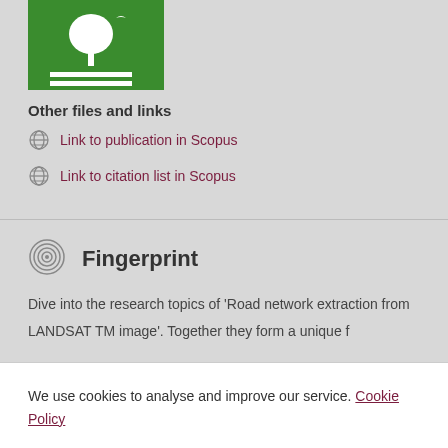[Figure (logo): Green SDG-style icon with tree and horizontal lines on green background]
Other files and links
Link to publication in Scopus
Link to citation list in Scopus
Fingerprint
Dive into the research topics of 'Road network extraction from LANDSAT TM image'. Together they form a unique fingerprint.
We use cookies to analyse and improve our service. Cookie Policy